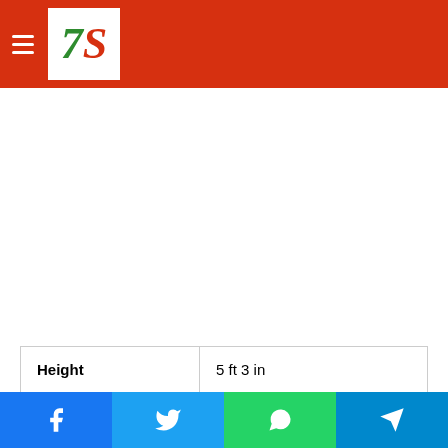7S logo with hamburger menu
| Height | 5 ft 3 in |
| Weight | 56 kg |
Share buttons: Facebook, Twitter, WhatsApp, Telegram